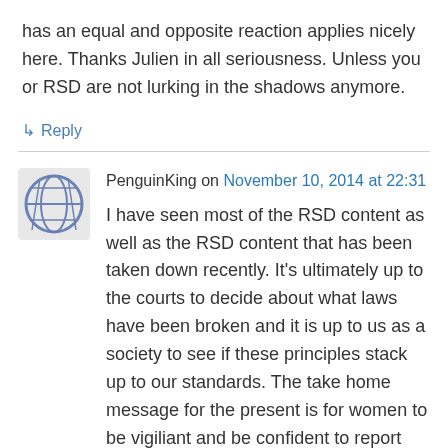has an equal and opposite reaction applies nicely here. Thanks Julien in all seriousness. Unless you or RSD are not lurking in the shadows anymore.
↳ Reply
PenguinKing on November 10, 2014 at 22:31
I have seen most of the RSD content as well as the RSD content that has been taken down recently. It's ultimately up to the courts to decide about what laws have been broken and it is up to us as a society to see if these principles stack up to our standards. The take home message for the present is for women to be vigiliant and be confident to report crimes and testify in court